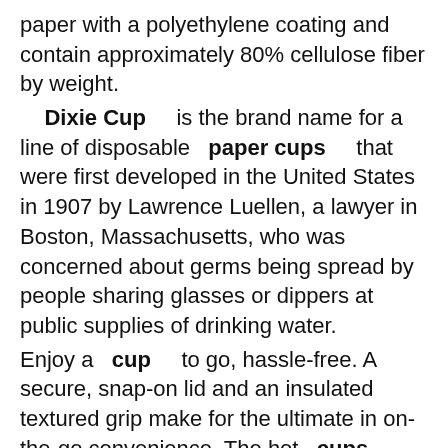paper with a polyethylene coating and contain approximately 80% cellulose fiber by weight. Dixie Cup is the brand name for a line of disposable paper cups that were first developed in the United States in 1907 by Lawrence Luellen, a lawyer in Boston, Massachusetts, who was concerned about germs being spread by people sharing glasses or dippers at public supplies of drinking water. Enjoy a cup to go, hassle-free. A secure, snap-on lid and an insulated textured grip make for the ultimate in on-the-go convenience. The hot cups can be used safely in a microwave for reheating liquids. Paper cups with a petroleum-based coating end up in already space-stressed landfills because they can"t be composted or recycled . Dixie EcoSmart Compostable Hot Paper Cups on the other hand, are made from 95